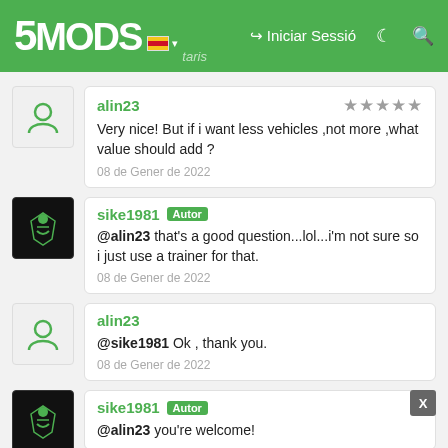5MODS — Iniciar Sessió
alin23 — Very nice! But if i want less vehicles ,not more ,what value should add ? — 08 de Gener de 2022
sike1981 Autor — @alin23 that's a good question...lol...i'm not sure so i just use a trainer for that. — 08 de Gener de 2022
alin23 — @sike1981 Ok , thank you. — 08 de Gener de 2022
sike1981 Autor — @alin23 you're welcome!